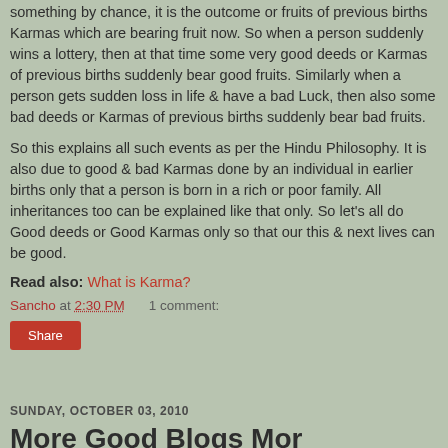something by chance, it is the outcome or fruits of previous births Karmas which are bearing fruit now. So when a person suddenly wins a lottery, then at that time some very good deeds or Karmas of previous births suddenly bear good fruits. Similarly when a person gets sudden loss in life & have a bad Luck, then also some bad deeds or Karmas of previous births suddenly bear bad fruits.
So this explains all such events as per the Hindu Philosophy. It is also due to good & bad Karmas done by an individual in earlier births only that a person is born in a rich or poor family. All inheritances too can be explained like that only. So let's all do Good deeds or Good Karmas only so that our this & next lives can be good.
Read also: What is Karma?
Sancho at 2:30 PM    1 comment:
Share
SUNDAY, OCTOBER 03, 2010
More Good Blogs More...